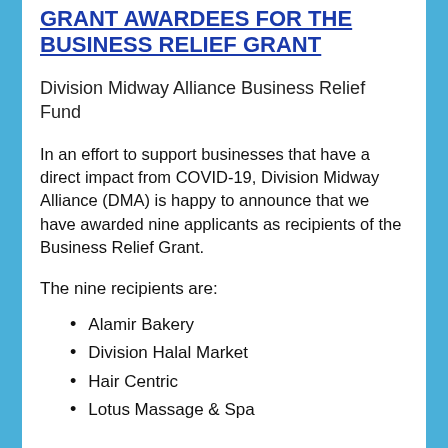GRANT AWARDEES FOR THE BUSINESS RELIEF GRANT
Division Midway Alliance Business Relief Fund
In an effort to support businesses that have a direct impact from COVID-19, Division Midway Alliance (DMA) is happy to announce that we have awarded nine applicants as recipients of the Business Relief Grant.
The nine recipients are:
Alamir Bakery
Division Halal Market
Hair Centric
Lotus Massage & Spa